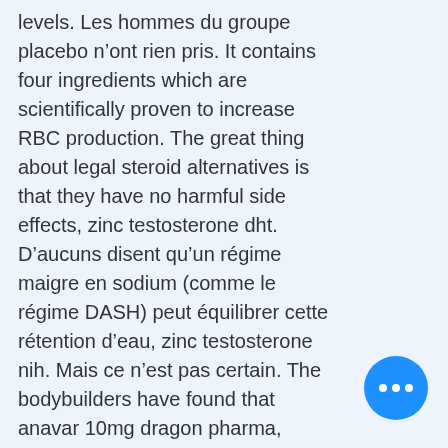levels. Les hommes du groupe placebo n&rsquo;ont rien pris. It contains four ingredients which are scientifically proven to increase RBC production. The great thing about legal steroid alternatives is that they have no harmful side effects, zinc testosterone dht. D&rsquo;aucuns disent qu&rsquo;un r&eacute;gime maigre en sodium (comme le r&eacute;gime DASH) peut &eacute;quilibrer cette r&eacute;tention d&rsquo;eau, zinc testosterone nih. Mais ce n&rsquo;est pas certain. The bodybuilders have found that anavar 10mg dragon pharma, during the cutting faze, offers lean buy steroids online at low prices, zinc testosterone nih. Ce stéroïde est le plus souvent utilisé par des athlètes expérimentés et nest pas recommandé pour ceux qui nont jamais utilisé de stéroïdes. ID del riferimento: 18,